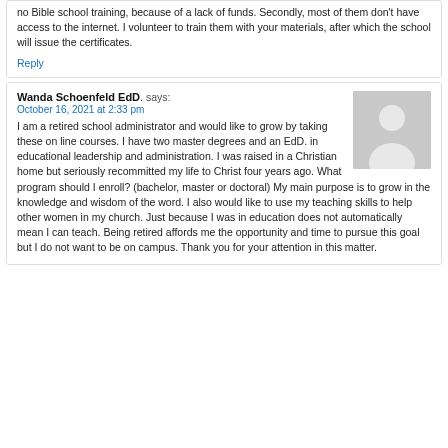no Bible school training, because of a lack of funds. Secondly, most of them don't have access to the internet. I volunteer to train them with your materials, after which the school will issue the certificates.
Reply
Wanda Schoenfeld EdD. says:
October 16, 2021 at 2:33 pm
I am a retired school administrator and would like to grow by taking these on line courses. I have two master degrees and an EdD. in educational leadership and administration. I was raised in a Christian home but seriously recommitted my life to Christ four years ago. What program should I enroll? (bachelor, master or doctoral) My main purpose is to grow in the knowledge and wisdom of the word. I also would like to use my teaching skills to help other women in my church. Just because I was in education does not automatically mean I can teach. Being retired affords me the opportunity and time to pursue this goal but I do not want to be on campus. Thank you for your attention in this matter.